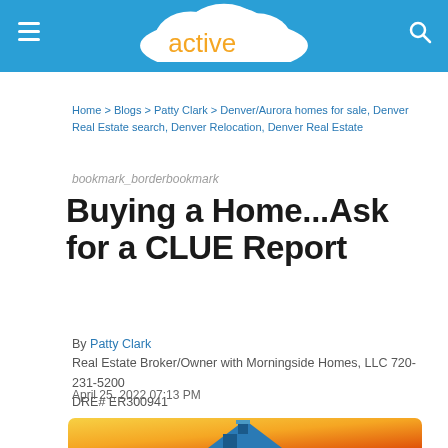activerain
Home > Blogs > Patty Clark > Denver/Aurora homes for sale, Denver Real Estate search, Denver Relocation, Denver Real Estate
bookmark_borderbookmark
Buying a Home...Ask for a CLUE Report
By Patty Clark
Real Estate Broker/Owner with Morningside Homes, LLC 720-231-5200
DRE# ER300941
April 25, 2022 07:13 PM
[Figure (illustration): Illustration of a house with teal/blue roof on an orange-yellow gradient background]